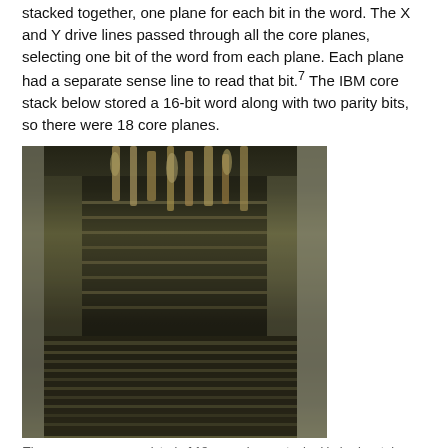stacked together, one plane for each bit in the word. The X and Y drive lines passed through all the core planes, selecting one bit of the word from each plane. Each plane had a separate sense line to read that bit.⁷ The IBM core stack below stored a 16-bit word along with two parity bits, so there were 18 core planes.
[Figure (photo): Photograph of an IBM core memory stack showing 18 core planes stacked in horizontal layers in a metal frame/chassis. Connections to the edge of each plane are visible at the front. The cores themselves are not visible in this assembled array.]
The core memory consisted of 18 core planes stacked in horizontal layers. Connections to the edge of each plane are visible at the front. The cores themselves are not visible in this assembled array.
Writing to core memory required additional wires called the inhibit lines, one per core plane. In the write process, a current passed through the X and Y lines, flipping the selected cores (one per plane) to the 1 state, storing all 1's in the word. To write a 0 in a bit position, the plane's inhibit line